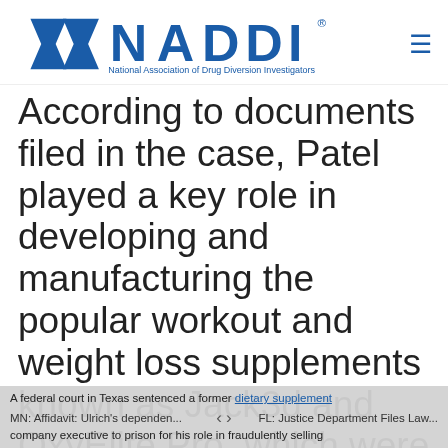NADDI — National Association of Drug Diversion Investigators
According to documents filed in the case, Patel played a key role in developing and manufacturing the popular workout and weight loss supplements known as Jack3d and OxyElite Pro, which were distributed by Dallas-based USPlabs.
A federal court in Texas sentenced a former dietary supplement company executive to prison for his role in fraudulently selling | MN: Affidavit: Ulrich's dependen... | FL: Justice Department Files Law...